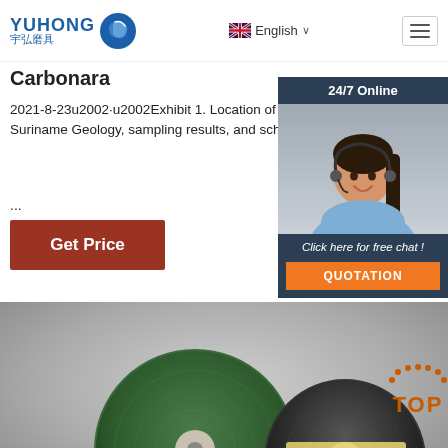YUHONG 宇弘磨具 | English | Navigation menu
Carbonara
2021-8-23u2002·u2002Exhibit 1. Location of targets of the Nassau gold project, Suriname Geology, sampling results, and schematic dr ...
[Figure (photo): Customer service representative woman with headset, 24/7 Online chat widget with QUOTATION button, overlaid on the right side of the page]
[Figure (photo): Two grinding/cutting discs - one green and one black, photographed on grey gradient background with TOP badge in orange]